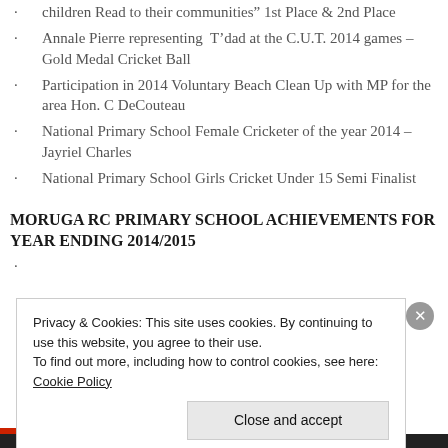children Read to their communities” 1st Place & 2nd Place
Annale Pierre representing T’dad at the C.U.T. 2014 games – Gold Medal Cricket Ball
Participation in 2014 Voluntary Beach Clean Up with MP for the area Hon. C DeCouteau
National Primary School Female Cricketer of the year 2014 – Jayriel Charles
National Primary School Girls Cricket Under 15 Semi Finalist
MORUGA RC PRIMARY SCHOOL ACHIEVEMENTS FOR YEAR ENDING 2014/2015
(partial bullet visible)
Privacy & Cookies: This site uses cookies. By continuing to use this website, you agree to their use. To find out more, including how to control cookies, see here: Cookie Policy